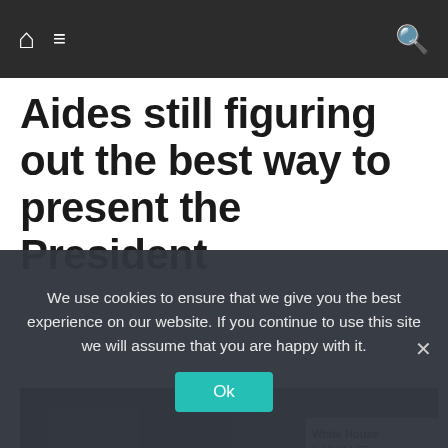Navigation bar with home, menu, and search icons
Aides still figuring out the best way to present the President
[Figure (screenshot): CNN news broadcast screenshot showing two anchors in split screen. Left side: male anchor with glasses and red tie. Right side: female anchor with dark hair. Chyron reads 'White House 5:19 PM ET'.]
We use cookies to ensure that we give you the best experience on our website. If you continue to use this site we will assume that you are happy with it.